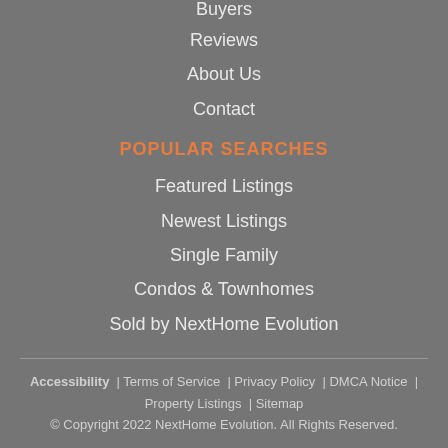Buyers
Reviews
About Us
Contact
POPULAR SEARCHES
Featured Listings
Newest Listings
Single Family
Condos & Townhomes
Sold by NextHome Evolution
Accessibility  |  Terms of Service  |  Privacy Policy  |  DMCA Notice  |  Property Listings  |  Sitemap
© Copyright 2022 NextHome Evolution. All Rights Reserved.